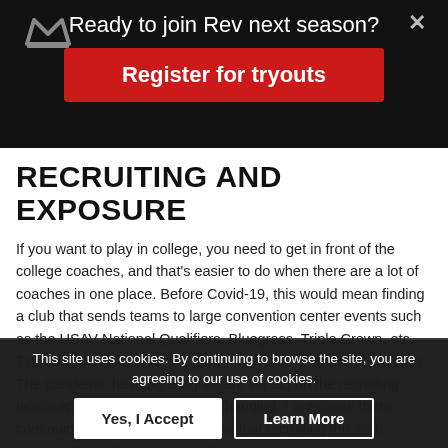Ready to join Rev next season?
Register for tryouts
RECRUITING AND EXPOSURE
If you want to play in college, you need to get in front of the college coaches, and that's easier to do when there are a lot of coaches in one place. Before Covid-19, this would mean finding a club that sends teams to large convention center events such as the USAV National Qualifiers, Bluegrass, Triple Crown, etc. Typically, these events can gather a couple of hundred coaches. The pandemic has had a significant impact on the recruiting landscape, which is still rapidly changing. I anticipate there continuing to be a high need for virtual recruiting this club season. Since there might be limited opportunities for in-person recruiting, I believe it will be crucial for athletes to have someone to advocate for them. Be sure to look at the resources such a club has available for th...
This site uses cookies. By continuing to browse the site, you are agreeing to our use of cookies.
Yes, I Accept
Learn More